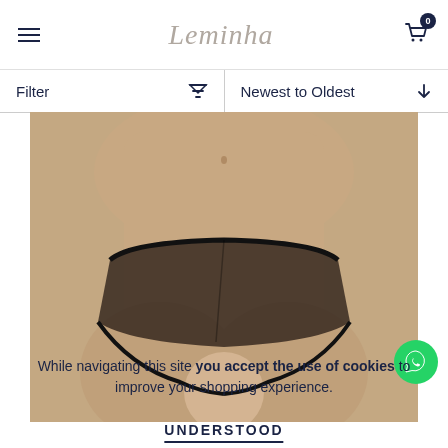Leminha — Filter | Newest to Oldest
[Figure (photo): Close-up photo of a person wearing black sheer lingerie underwear against a neutral gray background]
While navigating this site you accept the use of cookies to improve your shopping experience.
UNDERSTOOD